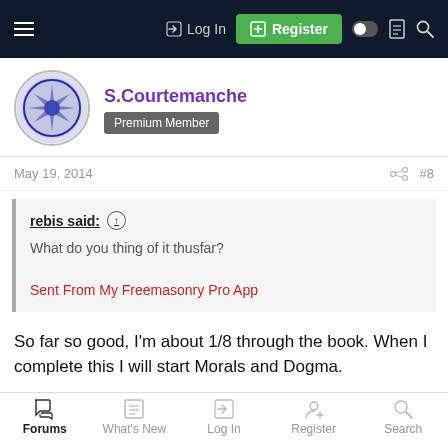Log In | Register
S.Courtemanche
Premium Member
May 19, 2014  #8
rebis said:
What do you thing of it thusfar?
Sent From My Freemasonry Pro App
So far so good, I'm about 1/8 through the book. When I complete this I will start Morals and Dogma.
Forums | What's New | Log In | Register | Search